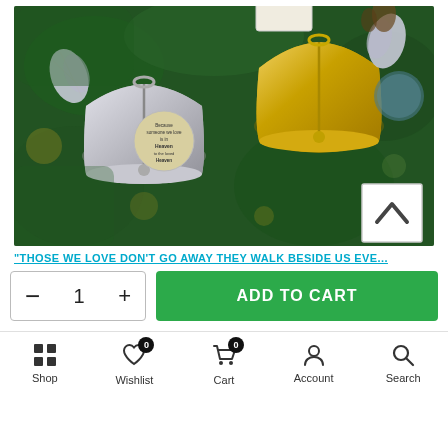[Figure (photo): Christmas tree ornament bells hanging on green pine branches. Two metallic bells (silver and gold) with angel wing charms and tags. Gold bell has a tag reading 'It's a Wonderful Life'. Silver bell has a circular tag with text 'Because someone we love is in Heaven'. A scroll-up button is visible in the bottom-right corner of the image.]
"THOSE WE LOVE DON'T GO AWAY THEY WALK BESIDE US EVE...
- 1 +
ADD TO CART
Shop  Wishlist  Cart  Account  Search